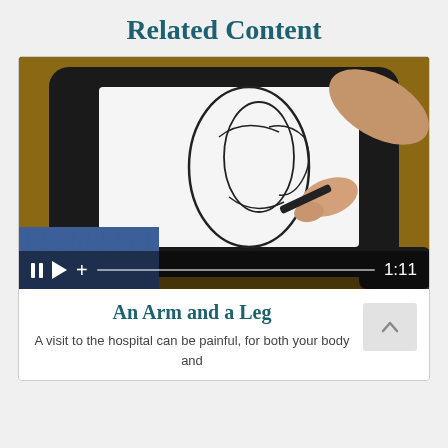Related Content
[Figure (screenshot): Video thumbnail showing hands drawing on paper with a black marker, with a video player control bar at the bottom showing pause, play, plus icons, a progress bar, and a timestamp of 1:11]
An Arm and a Leg
A visit to the hospital can be painful, for both your body and